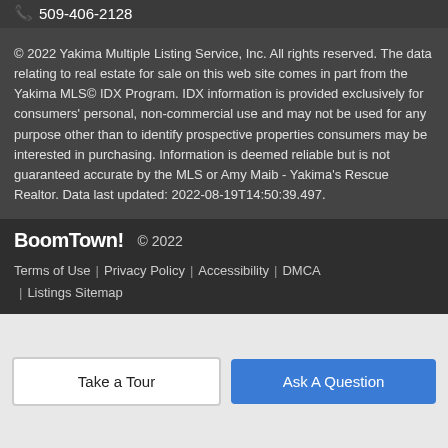📞 509-406-2128
© 2022 Yakima Multiple Listing Service, Inc. All rights reserved. The data relating to real estate for sale on this web site comes in part from the Yakima MLS© IDX Program. IDX information is provided exclusively for consumers' personal, non-commercial use and may not be used for any purpose other than to identify prospective properties consumers may be interested in purchasing. Information is deemed reliable but is not guaranteed accurate by the MLS or Amy Maib - Yakima's Rescue Realtor. Data last updated: 2022-08-19T14:50:39.497.
BoomTown! © 2022
Terms of Use | Privacy Policy | Accessibility | DMCA | Listings Sitemap
Take a Tour
Ask A Question